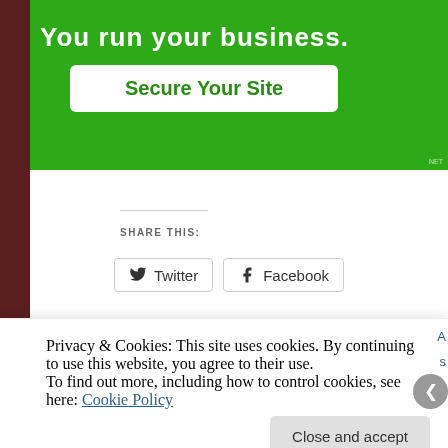[Figure (screenshot): Green advertisement banner with 'Secure Your Site' button]
SHARE THIS:
[Figure (screenshot): Social share buttons for Twitter and Facebook]
Loading...
Related
Privacy & Cookies: This site uses cookies. By continuing to use this website, you agree to their use.
To find out more, including how to control cookies, see here: Cookie Policy
Close and accept